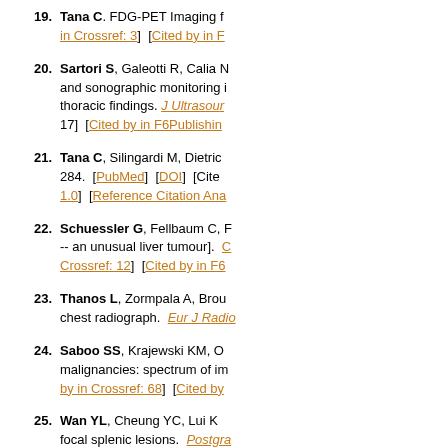19. Tana C. FDG-PET Imaging [...] in Crossref: 3] [Cited by in F...
20. Sartori S, Galeotti R, Calia N [...] and sonographic monitoring [...] thoracic findings. J Ultrasoun... 17] [Cited by in F6Publishing...
21. Tana C, Silingardi M, Dietric... 284. [PubMed] [DOI] [Cite... 1.0] [Reference Citation Ana...
22. Schuessler G, Fellbaum C, F... -- an unusual liver tumour]. [...] Crossref: 12] [Cited by in F6...
23. Thanos L, Zormpala A, Brou... chest radiograph. Eur J Radio...
24. Saboo SS, Krajewski KM, O... malignancies: spectrum of im... by in Crossref: 68] [Cited by...
25. Wan YL, Cheung YC, Lui K... focal splenic lesions. Postgra... 27] [Cited by in F6Publishing...